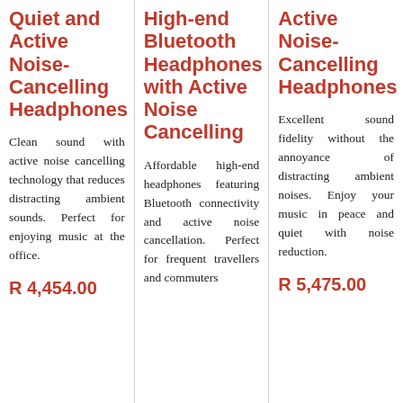Quiet and Active Noise-Cancelling Headphones
Clean sound with active noise cancelling technology that reduces distracting ambient sounds. Perfect for enjoying music at the office.
R 4,454.00
High-end Bluetooth Headphones with Active Noise Cancelling
Affordable high-end headphones featuring Bluetooth connectivity and active noise cancellation. Perfect for frequent travellers and commuters
Active Noise-Cancelling Headphones
Excellent sound fidelity without the annoyance of distracting ambient noises. Enjoy your music in peace and quiet with noise reduction.
R 5,475.00